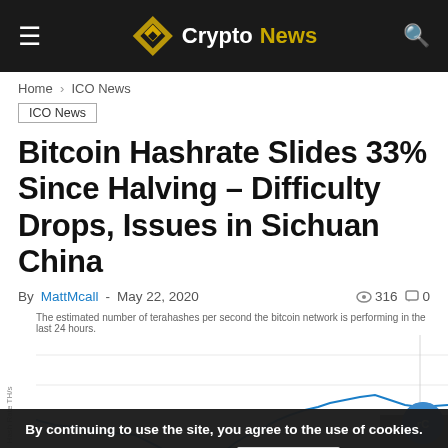Crypto News
Home › ICO News
ICO News
Bitcoin Hashrate Slides 33% Since Halving – Difficulty Drops, Issues in Sichuan China
By MattMcall - May 22, 2020  316  0
The estimated number of terahashes per second the bitcoin network is performing in the last 24 hours.
[Figure (line-chart): Line chart showing Bitcoin hash rate in TH/s over time, with a line dipping and then rising, partially obscured by cookie banner.]
By continuing to use the site, you agree to the use of cookies.
more information    Accept